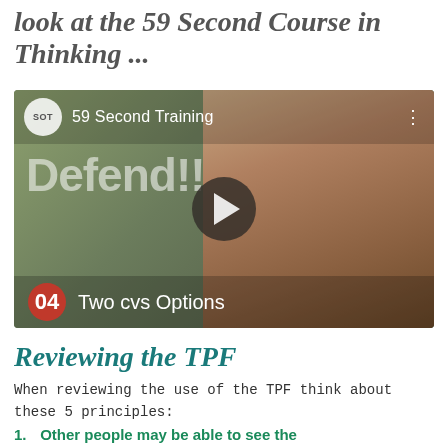look at the 59 Second Course in Thinking ...
[Figure (screenshot): Video thumbnail showing a man in a red checked shirt being interviewed, with text overlay '59 Second Training', logo 'SOT', 'Defend!!' text, a play button, and a red circle with '04 Two cvs Options' at the bottom.]
Reviewing the TPF
When reviewing the use of the TPF think about these 5 principles:
Other people may be able to see the